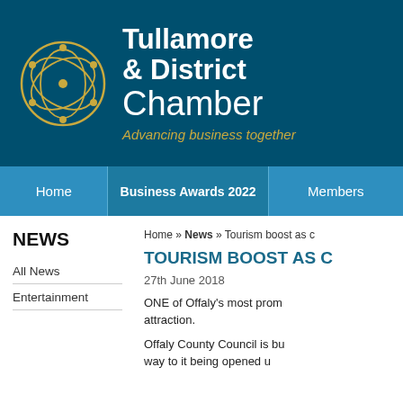[Figure (logo): Tullamore & District Chamber circular golden logo emblem with interconnected circles on dark teal background]
Tullamore & District Chamber
Advancing business together
Home | Business Awards 2022 | Members
NEWS
All News
Entertainment
Home » News » Tourism boost as c
TOURISM BOOST AS C
27th June 2018
ONE of Offaly's most prominent tourist attractions is set to become an even more appealing attraction.
Offaly County Council is busy making its way to it being opened up...